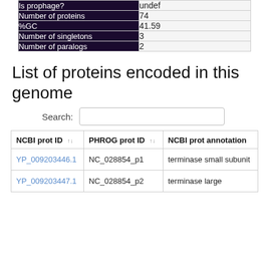| Property | Value |
| --- | --- |
| Is prophage? | undef |
| Number of proteins | 74 |
| %GC | 41.59 |
| Number of singletons | 3 |
| Number of paralogs | 2 |
List of proteins encoded in this genome
Search:
| NCBI prot ID | PHROG prot ID | NCBI prot annotation |
| --- | --- | --- |
| YP_009203446.1 | NC_028854_p1 | terminase small subunit |
| YP_009203447.1 | NC_028854_p2 | terminase large |